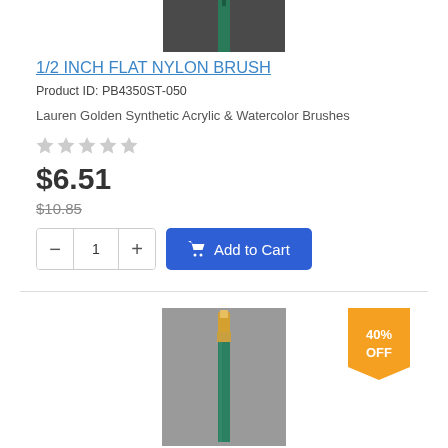[Figure (photo): Top portion of a paint brush with green handle against dark background]
1/2 INCH FLAT NYLON BRUSH
Product ID: PB4350ST-050
Lauren Golden Synthetic Acrylic & Watercolor Brushes
★★★★★ (empty stars rating)
$6.51
$10.85
- 1 + Add to Cart
[Figure (photo): Full-length round paint brush with green handle and golden tip against gray background]
40% OFF